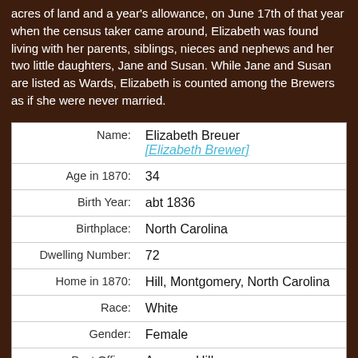acres of land and a year's allowance, on June 17th of that year when the census taker came around, Elizabeth was found living with her parents, siblings, nieces and nephews and her two little daughters, Jane and Susan. While Jane and Susan are listed as Wards, Elizabeth is counted among the Brewers as if she were never married.
| Label | Value |
| --- | --- |
| Name: | Elizabeth Breuer [Elizabeth Brewer] |
| Age in 1870: | 34 |
| Birth Year: | abt 1836 |
| Birthplace: | North Carolina |
| Dwelling Number: | 72 |
| Home in 1870: | Hill, Montgomery, North Carolina |
| Race: | White |
| Gender: | Female |
| Post Office: | Aumans Hill |
| Occupation: | At Home |